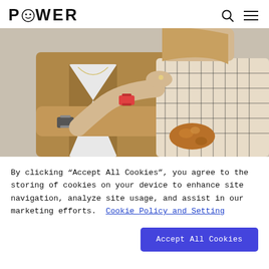POWER
[Figure (photo): Two people standing close together. Person on left wearing a tan/brown blazer and white shirt with a watch. Person on right wearing a plaid/checkered jacket and fur accessory on wrist, with sunglasses.]
By clicking “Accept All Cookies”, you agree to the storing of cookies on your device to enhance site navigation, analyze site usage, and assist in our marketing efforts.  Cookie Policy and Setting
Accept All Cookies